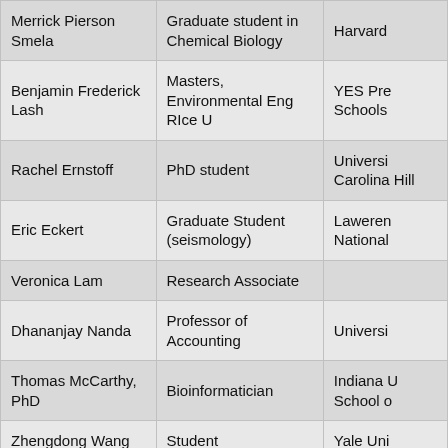| Name | Role | Affiliation |
| --- | --- | --- |
| Merrick Pierson Smela | Graduate student in Chemical Biology | Harvard |
| Benjamin Frederick Lash | Masters, Environmental Eng RIce U | YES Pre Schools |
| Rachel Ernstoff | PhD student | Universi Carolina Hill |
| Eric Eckert | Graduate Student (seismology) | Laweren National |
| Veronica Lam | Research Associate |  |
| Dhananjay Nanda | Professor of Accounting | Universi |
| Thomas McCarthy, PhD | Bioinformatician | Indiana U School o |
| Zhengdong Wang | Student | Yale Uni |
| John Arnold | Science funder | Arnold V |